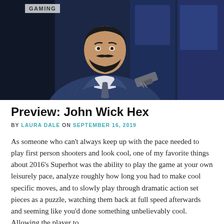GAMING
[Figure (illustration): Animated illustration of John Wick character in a dark blue suit holding a gun, stylized anime/comic art style with dark blue background]
Preview: John Wick Hex
BY LAURA DALE ON SEPTEMBER 16, 2019
As someone who can't always keep up with the pace needed to play first person shooters and look cool, one of my favorite things about 2016's Superhot was the ability to play the game at your own leisurely pace, analyze roughly how long you had to make cool specific moves, and to slowly play through dramatic action set pieces as a puzzle, watching them back at full speed afterwards and seeming like you'd done something unbelievably cool. Allowing the player to